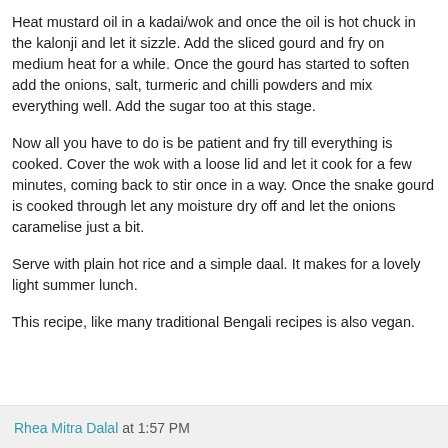Heat mustard oil in a kadai/wok and once the oil is hot chuck in the kalonji and let it sizzle. Add the sliced gourd and fry on medium heat for a while. Once the gourd has started to soften add the onions, salt, turmeric and chilli powders and mix everything well. Add the sugar too at this stage.
Now all you have to do is be patient and fry till everything is cooked. Cover the wok with a loose lid and let it cook for a few minutes, coming back to stir once in a way. Once the snake gourd is cooked through let any moisture dry off and let the onions caramelise just a bit.
Serve with plain hot rice and a simple daal. It makes for a lovely light summer lunch.
This recipe, like many traditional Bengali recipes is also vegan.
Rhea Mitra Dalal at 1:57 PM